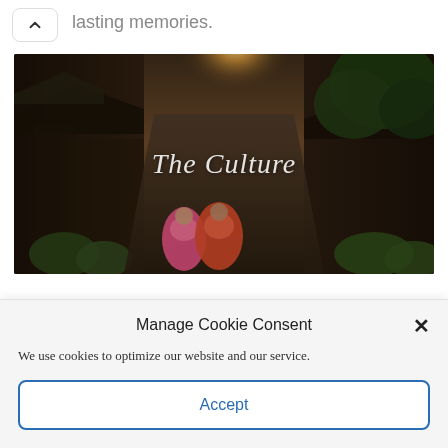lasting memories.
[Figure (photo): A Japanese alleyway with traditional wooden buildings and willow trees, two women in colorful kimonos walking away from camera. Overlaid text reads 'The Culture' in italic white serif font.]
Manage Cookie Consent
We use cookies to optimize our website and our service.
Accept